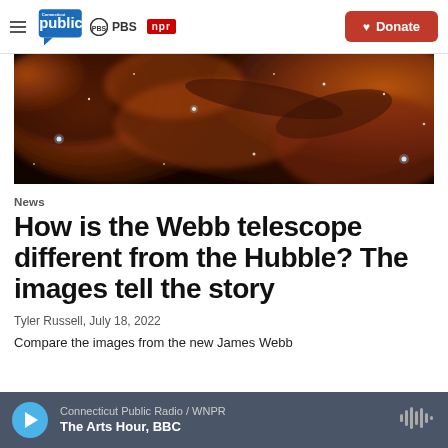Connecticut Public | PBS | NPR | Donate
[Figure (photo): Wide panoramic photograph of a nebula in deep space, showing swirling clouds of orange, red, and brown dust with bright stars visible against the cosmic backdrop — likely the Carina Nebula as imaged by the James Webb Space Telescope.]
News
How is the Webb telescope different from the Hubble? The images tell the story
Tyler Russell,  July 18, 2022
Compare the images from the new James Webb
Connecticut Public Radio / WNPR | The Arts Hour, BBC